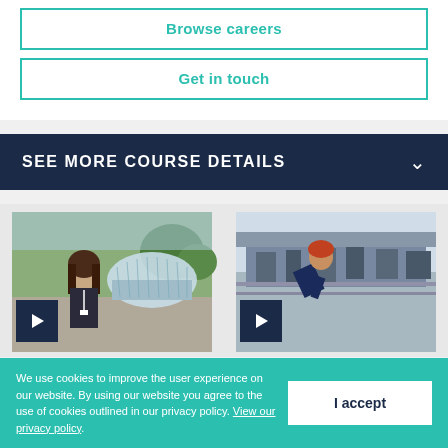Browse careers
Get in touch
SEE MORE COURSE DETAILS
[Figure (photo): Young woman sitting outdoors in front of a modern glass building, wearing a lanyard, with trees in background. Play button overlay in bottom left.]
[Figure (photo): Young man with red hair working at industrial machinery in a workshop. Play button overlay in bottom left.]
We use cookies to improve the user experience on our website. By using our website you agree to the use of cookies outlined in our privacy policy. View our privacy policy.
I accept